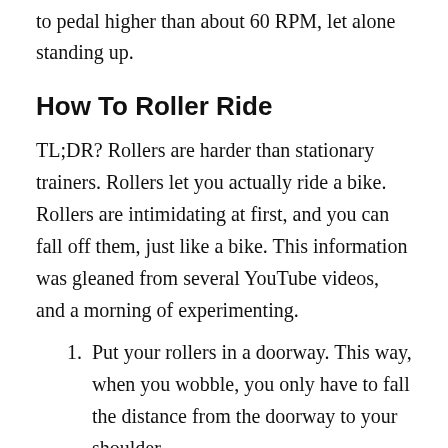to pedal higher than about 60 RPM, let alone standing up.
How To Roller Ride
TL;DR? Rollers are harder than stationary trainers. Rollers let you actually ride a bike. Rollers are intimidating at first, and you can fall off them, just like a bike. This information was gleaned from several YouTube videos, and a morning of experimenting.
Put your rollers in a doorway. This way, when you wobble, you only have to fall the distance from the doorway to your shoulder.
Get your bike into its heaviest or second heaviest gear to start: as with riding outdoors,